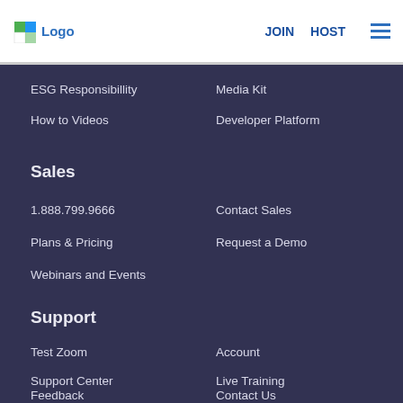Logo | JOIN | HOST
ESG Responsibillity
Media Kit
How to Videos
Developer Platform
Sales
1.888.799.9666
Contact Sales
Plans & Pricing
Request a Demo
Webinars and Events
Support
Test Zoom
Account
Support Center
Live Training
Feedback
Contact Us
Accessibility
Developer Support
Privacy  Security  Legal Policies
Developer Support